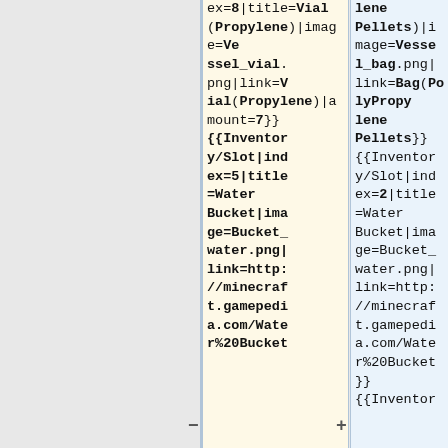ex=8|title=Vial(Propylene)|image=Vessel_vial.png|link=Vial(Propylene)|amount=7}}{{Inventory/Slot|index=5|title=Water Bucket|image=Bucket_water.png|link=http://minecraft.gamepedia.com/Water Bucket
lene Pellets)|image=Vessel_bag.png|link=Bag(PolyPropylene Pellets)}}{{Inventory/Slot|index=2|title=Water Bucket|image=Bucket_water.png|link=http://minecraft.gamepedia.com/Water%20Bucket}}{{Inventor